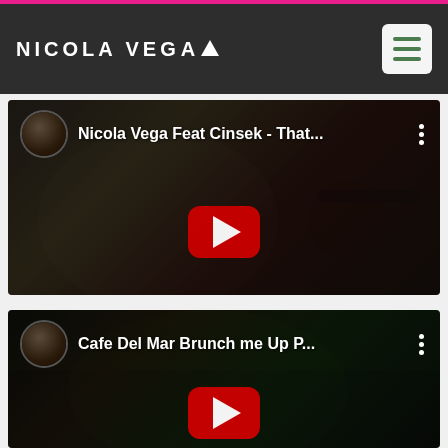NICOLA VEGA
[Figure (screenshot): YouTube video thumbnail for 'Nicola Vega Feat Cinsek - That...' showing a woman in a floral top with gym equipment in the background, with a red YouTube play button overlay]
[Figure (screenshot): YouTube video thumbnail for 'Cafe Del Mar Brunch me Up P...' showing people at a pool party, with a red YouTube play button overlay]